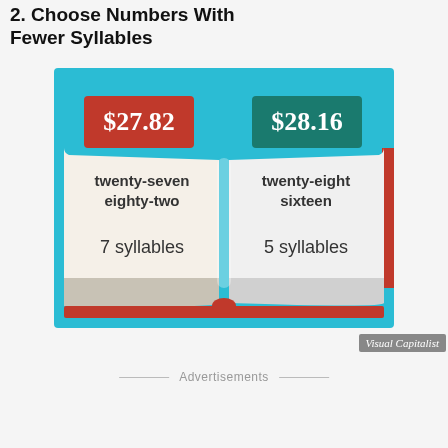2. Choose Numbers With Fewer Syllables
[Figure (infographic): Infographic showing two price tags: $27.82 (red label, 7 syllables: twenty-seven eighty-two) vs $28.16 (teal label, 5 syllables: twenty-eight sixteen), displayed as open book pages on a teal background.]
Visual Capitalist
Advertisements